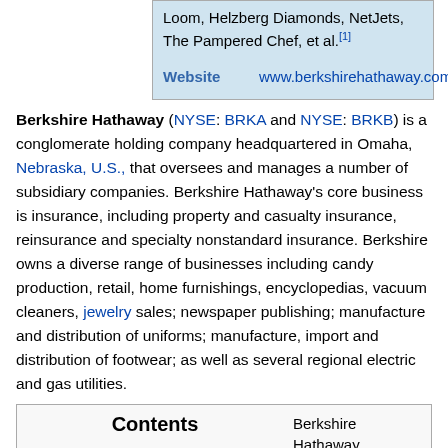| Website |
| --- |
| Loom, Helzberg Diamonds, NetJets, The Pampered Chef, et al.[1] |
| www.berkshirehathaway.com |
Berkshire Hathaway (NYSE: BRKA and NYSE: BRKB) is a conglomerate holding company headquartered in Omaha, Nebraska, U.S., that oversees and manages a number of subsidiary companies. Berkshire Hathaway's core business is insurance, including property and casualty insurance, reinsurance and specialty nonstandard insurance. Berkshire owns a diverse range of businesses including candy production, retail, home furnishings, encyclopedias, vacuum cleaners, jewelry sales; newspaper publishing; manufacture and distribution of uniforms; manufacture, import and distribution of footwear; as well as several regional electric and gas utilities.
| Contents | Berkshire Hathaway... |
| --- | --- |